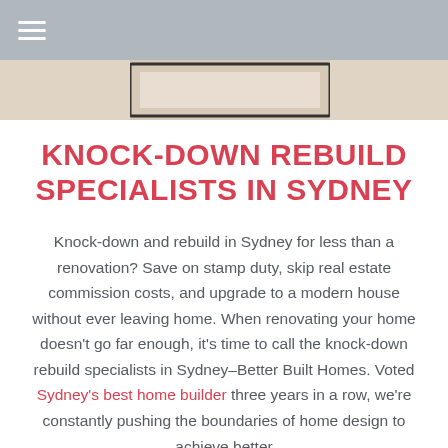≡ (hamburger menu icon)
[Figure (photo): Partial view of a desk or workspace with a picture frame and light-colored fabric or upholstery, neutral/warm tones]
KNOCK-DOWN REBUILD SPECIALISTS IN SYDNEY
Knock-down and rebuild in Sydney for less than a renovation? Save on stamp duty, skip real estate commission costs, and upgrade to a modern house without ever leaving home. When renovating your home doesn't go far enough, it's time to call the knock-down rebuild specialists in Sydney–Better Built Homes. Voted Sydney's best home builder three years in a row, we're constantly pushing the boundaries of home design to achieve better